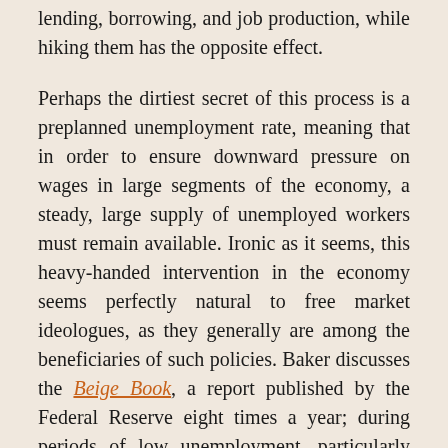lending, borrowing, and job production, while hiking them has the opposite effect.
Perhaps the dirtiest secret of this process is a preplanned unemployment rate, meaning that in order to ensure downward pressure on wages in large segments of the economy, a steady, large supply of unemployed workers must remain available. Ironic as it seems, this heavy-handed intervention in the economy seems perfectly natural to free market ideologues, as they generally are among the beneficiaries of such policies. Baker discusses the Beige Book, a report published by the Federal Reserve eight times a year; during periods of low unemployment, particularly 1997 to 2000, employers lamented the increased benefits and wages necessary to entice employees from other companies, even in trades traditionally plagued with low income in the neoliberal period. As vicious and malevolent as this form of social planning might seem, elites claim it is necessary to ensure inflation remains stable. The human cost seems less important, as employers enjoy more access